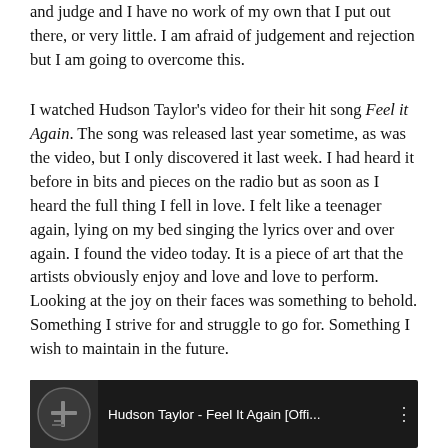and judge and I have no work of my own that I put out there, or very little. I am afraid of judgement and rejection but I am going to overcome this.
I watched Hudson Taylor's video for their hit song Feel it Again. The song was released last year sometime, as was the video, but I only discovered it last week. I had heard it before in bits and pieces on the radio but as soon as I heard the full thing I fell in love. I felt like a teenager again, lying on my bed singing the lyrics over and over again. I found the video today. It is a piece of art that the artists obviously enjoy and love and love to perform. Looking at the joy on their faces was something to behold. Something I strive for and struggle to go for. Something I wish to maintain in the future.
[Figure (screenshot): YouTube video embed thumbnail showing Hudson Taylor - Feel It Again [Offi...] with channel icon on dark background]